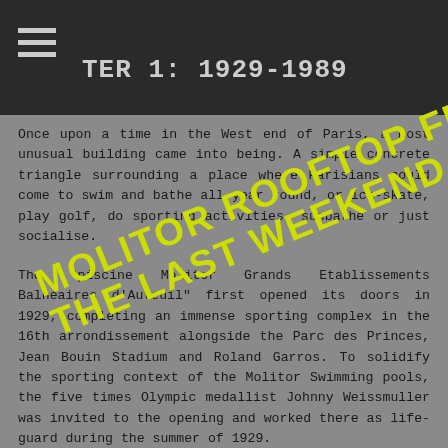TER 1: 1929-1989
Once upon a time in the West end of Paris, a most unusual building came into being. A simple concrete triangle surrounding a place where Parisians could come to swim and bathe all year round, or ice-skate, play golf, do sporting activities, sunbathe or just socialise.
[Figure (other): Diagonal watermark text reading 'MOLITOR ROOFTOP FESTIVAL THE LAST WEEKEND' in bold yellow letters]
The "piscine Molitor Grands Etablissements Balnéaires d'Auteuil" first opened its doors in 1929, completing an immense sporting complex in the 16th arrondissement alongside the Parc des Princes, Jean Bouin Stadium and Roland Garros. To solidify the sporting context of the Molitor Swimming pools, the five times Olympic medallist Johnny Weissmuller was invited to the opening and worked there as life-guard during the summer of 1929.
But Molitor quickly released itself from its principal intended use, gradually transforming itself into a place for socialising and events: the artists' gala was held at Molitor in 1931, from 1934 it was the annual venue of the